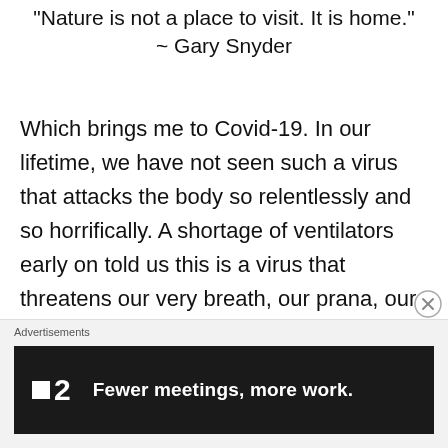"Nature is not a place to visit. It is home." ~ Gary Snyder
Which brings me to Covid-19. In our lifetime, we have not seen such a virus that attacks the body so relentlessly and so horrifically. A shortage of ventilators early on told us this is a virus that threatens our very breath, our prana, our spiritus. Those deeply and personally affected by it speak of having no breath. Their breathing becomes anything but automatic, requiring complete attention and effort, and it's still not enough. I can't imagine a more frightening
Advertisements
[Figure (screenshot): Advertisement banner for Twist app: dark background with white square logo icon, '2' numeral, and bold white text 'Fewer meetings, more work.']